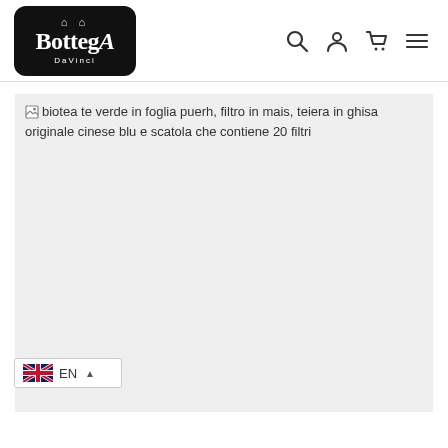[Figure (logo): Bottega DaVinci logo — black rounded rectangle with arch symbol and stylized text]
[Figure (other): Navigation icons: search, account, cart, menu (hamburger)]
[Figure (photo): Broken/missing image placeholder with alt text: biotea te verde in foglia puerh, filtro in mais, teiera in ghisa originale cinese blu e scatola che contiene 20 filtri]
[Figure (infographic): Language selector widget showing UK flag, EN label, and up-caret arrow]